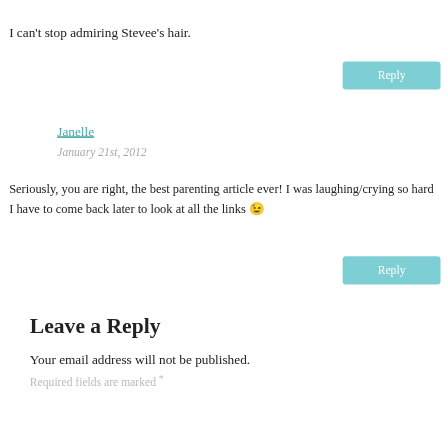I can't stop admiring Stevee's hair.
Reply
Janelle
January 21st, 2012
Seriously, you are right, the best parenting article ever! I was laughing/crying so hard I have to come back later to look at all the links 😉
Reply
Leave a Reply
Your email address will not be published.
Required fields are marked *